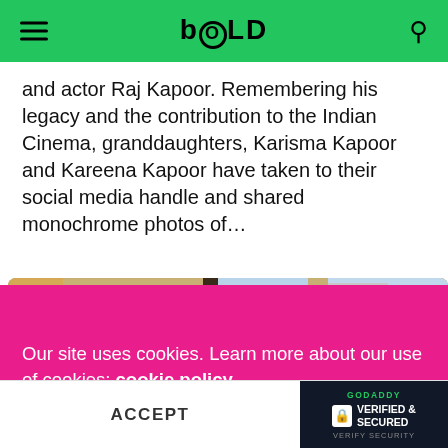BOLD
and actor Raj Kapoor. Remembering his legacy and the contribution to the Indian Cinema, granddaughters, Karisma Kapoor and Kareena Kapoor have taken to their social media handle and shared monochrome photos of…
[Figure (photo): A person photographed indoors near a window with city buildings visible in the background]
Our site uses cookies. Learn more about our use of cookies: cookie policy
ACCEPT